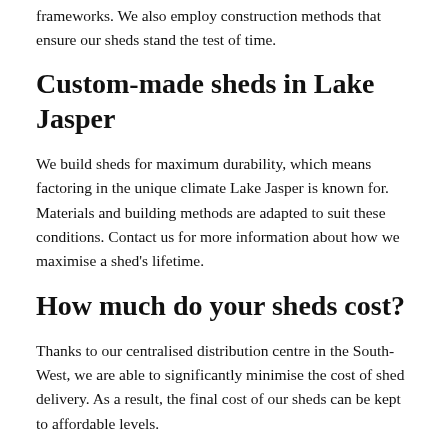frameworks. We also employ construction methods that ensure our sheds stand the test of time.
Custom-made sheds in Lake Jasper
We build sheds for maximum durability, which means factoring in the unique climate Lake Jasper is known for. Materials and building methods are adapted to suit these conditions. Contact us for more information about how we maximise a shed's lifetime.
How much do your sheds cost?
Thanks to our centralised distribution centre in the South-West, we are able to significantly minimise the cost of shed delivery. As a result, the final cost of our sheds can be kept to affordable levels.